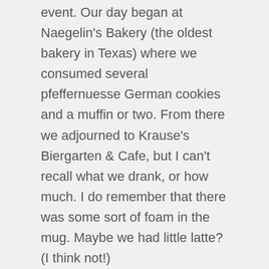event.  Our day began at Naegelin's Bakery (the oldest bakery in Texas) where we consumed several pfeffernuesse German cookies and a muffin or two.  From there we adjourned to Krause's Biergarten & Cafe, but I can't recall what we drank, or how much.  I do remember that there was some sort of foam in the mug.  Maybe we had little latte?  (I think not!)
By the way, the Animal World and Snake Farm Zoo has re-opened.  (The owner had been suffering from a “reptile dysfunction.”)  If you would like to observe a black mamba, king cobra, or python, then this is the place for you.  (The snake farm was used as a backdrop in one of my Adam Gold Mysteries, a book titled, DEVIL’S COVE)  It's actually an interesting place to visit.